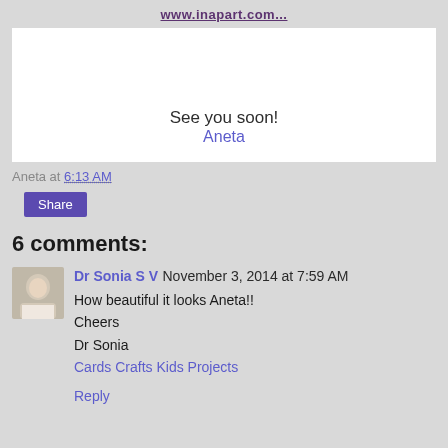www.inapart.com...
[Figure (other): White content box with centered text: See you soon! and Aneta signature in purple]
See you soon!
Aneta
Aneta at 6:13 AM
Share
6 comments:
[Figure (photo): Small avatar photo of Dr Sonia S V]
Dr Sonia S V November 3, 2014 at 7:59 AM
How beautiful it looks Aneta!!
Cheers
Dr Sonia
Cards Crafts Kids Projects
Reply